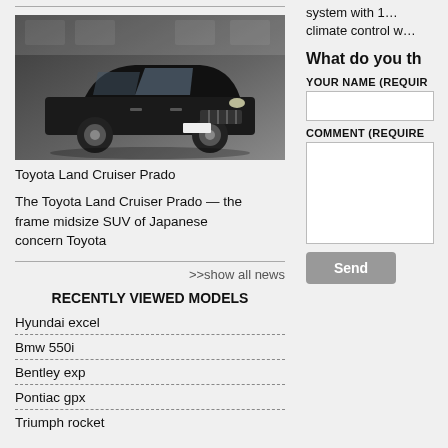[Figure (photo): Black Toyota Land Cruiser Prado SUV photographed against a branded backdrop]
Toyota Land Cruiser Prado
The Toyota Land Cruiser Prado — the frame midsize SUV of Japanese concern Toyota
>>show all news
RECENTLY VIEWED MODELS
Hyundai excel
Bmw 550i
Bentley exp
Pontiac gpx
Triumph rocket
system with 1… climate control w…
What do you th
YOUR NAME (REQUIR
COMMENT (REQUIRE
Send